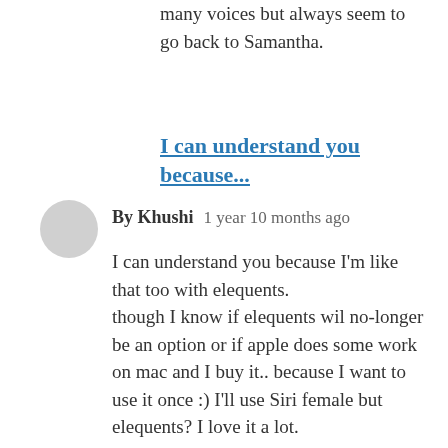many voices but always seem to go back to Samantha.
I can understand you because...
By Khushi   1 year 10 months ago
I can understand you because I'm like that too with elequents.
though I know if elequents wil no-longer be an option or if apple does some work on mac and I buy it.. because I want to use it once :) I'll use Siri female but elequents? I love it a lot.
probably because ever since I learnt computer I have been using it. NVDA kind of ditched the support after an update but I was lucky to get IBM TTS from BHP so I'm using elequents.